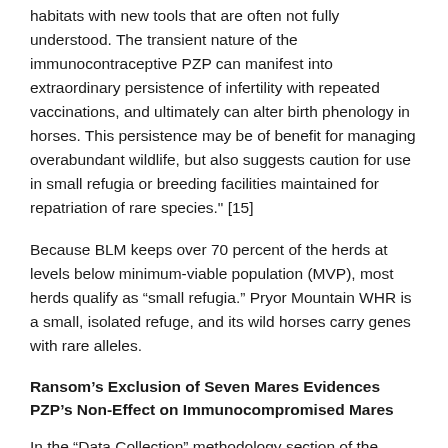habitats with new tools that are often not fully understood. The transient nature of the immunocontraceptive PZP can manifest into extraordinary persistence of infertility with repeated vaccinations, and ultimately can alter birth phenology in horses. This persistence may be of benefit for managing overabundant wildlife, but also suggests caution for use in small refugia or breeding facilities maintained for repatriation of rare species." [15]
Because BLM keeps over 70 percent of the herds at levels below minimum-viable population (MVP), most herds qualify as “small refugia.” Pryor Mountain WHR is a small, isolated refuge, and its wild horses carry genes with rare alleles.
Ransom’s Exclusion of Seven Mares Evidences PZP’s Non-Effect on Immunocompromised Mares
In the “Data Collection” methodology section of the Ransom et al. report, the authors advised: “We omitted data for one female from the Little Book Cliffs and six